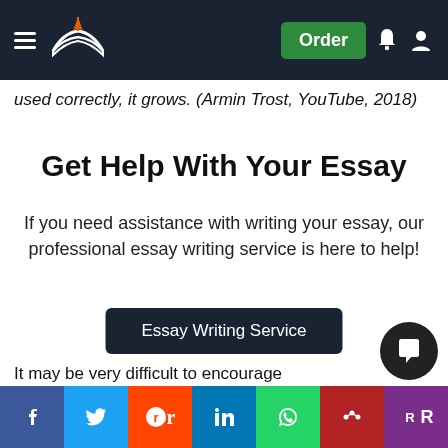Navigation bar with logo, hamburger menu, Order button, notification and user icons
used correctly, it grows. (Armin Trost, YouTube, 2018)
Get Help With Your Essay
If you need assistance with writing your essay, our professional essay writing service is here to help!
Essay Writing Service
It may be very difficult to encourage motivation or engagement in a person who is ill-suited for a role. Jim Collins use m if s k od to Great', exp a k o z n, the
[Figure (other): Social sharing bar with Facebook, Twitter, Reddit, LinkedIn, WhatsApp, Mendeley, ResearchGate buttons]